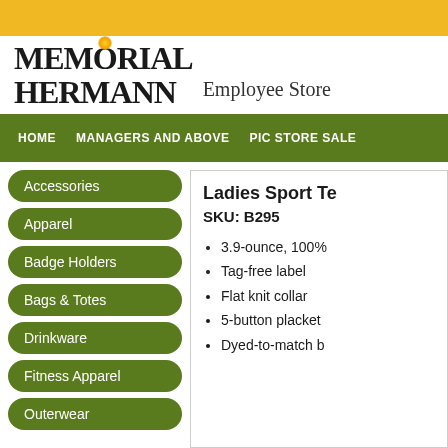Memorial Hermann Employee Store
HOME | MANAGERS AND ABOVE | PIC STORE SALE
Accessories
Apparel
Badge Holders
Bags & Totes
Drinkware
Fitness Apparel
Outerwear
Ladies Sport Te...
SKU: B295
3.9-ounce, 100%...
Tag-free label
Flat knit collar
5-button placket...
Dyed-to-match b...